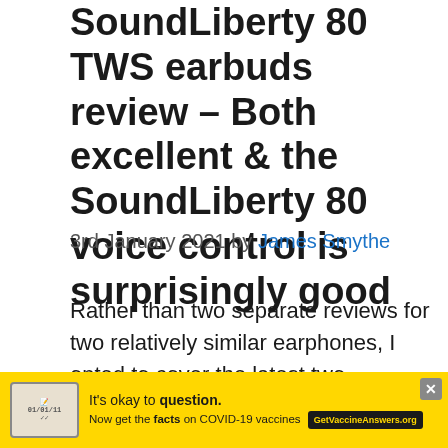SoundLiberty 80 TWS earbuds review – Both excellent & the SoundLiberty 80 voice control is surprisingly good
3rd January 2021 by James Smythe
Rather than two separate reviews for two relatively similar earphones, I opted to cover the latest two earphones from TaoTronics together.
There doesn't appear to be a great ...
[Figure (other): Yellow advertisement banner for 'It's okay to question. Now get the facts on COVID-19 vaccines. GetVaccineAnswers.org' with a close button.]